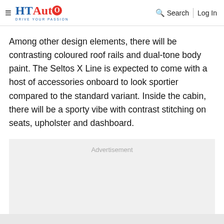HT Auto - Drive Your Passion | Search | Log In
Among other design elements, there will be contrasting coloured roof rails and dual-tone body paint. The Seltos X Line is expected to come with a host of accessories onboard to look sportier compared to the standard variant. Inside the cabin, there will be a sporty vibe with contrast stitching on seats, upholster and dashboard.
[Figure (other): Advertisement placeholder box with gray background and 'Advertisement' label text]